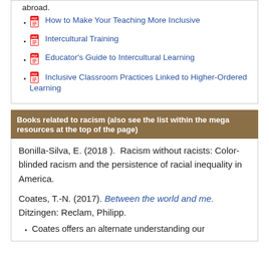abroad.
How to Make Your Teaching More Inclusive
Intercultural Training
Educator's Guide to Intercultural Learning
Inclusive Classroom Practices Linked to Higher-Ordered Learning
Books related to racism (also see the list within the mega resources at the top of the page)
Bonilla-Silva, E. (2018 ).  Racism without racists: Color-blinded racism and the persistence of racial inequality in  America.
Coates, T.-N. (2017). Between the world and me. Ditzingen: Reclam, Philipp.
Coates offers an alternate understanding our